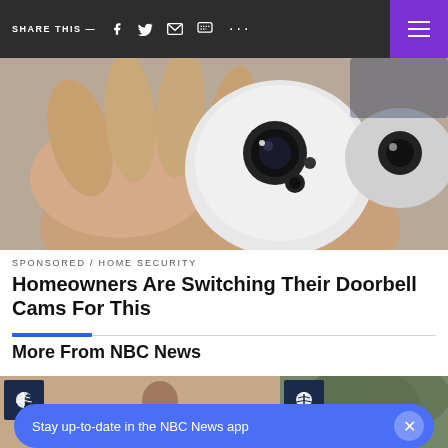SHARE THIS —
[Figure (photo): Person holding a small white dome-shaped security camera against a light background]
SPONSORED / HOME SECURITY
Homeowners Are Switching Their Doorbell Cams For This
More From NBC News
[Figure (photo): Thumbnail image of a person, left card in More From NBC News row]
[Figure (photo): Thumbnail image in right card of More From NBC News row]
Stay up-to-date in the NBC News app